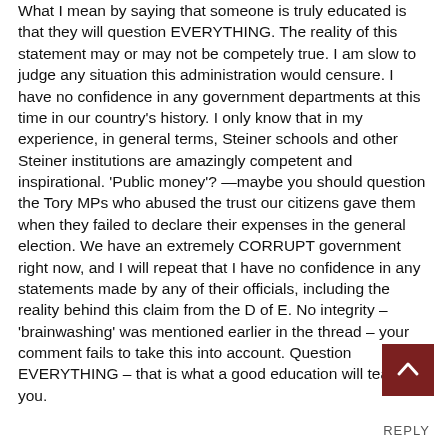What I mean by saying that someone is truly educated is that they will question EVERYTHING. The reality of this statement may or may not be competely true. I am slow to judge any situation this administration would censure. I have no confidence in any government departments at this time in our country's history. I only know that in my experience, in general terms, Steiner schools and other Steiner institutions are amazingly competent and inspirational. 'Public money'? —maybe you should question the Tory MPs who abused the trust our citizens gave them when they failed to declare their expenses in the general election. We have an extremely CORRUPT government right now, and I will repeat that I have no confidence in any statements made by any of their officials, including the reality behind this claim from the D of E. No integrity – 'brainwashing' was mentioned earlier in the thread – your comment fails to take this into account. Question EVERYTHING – that is what a good education will teach you.